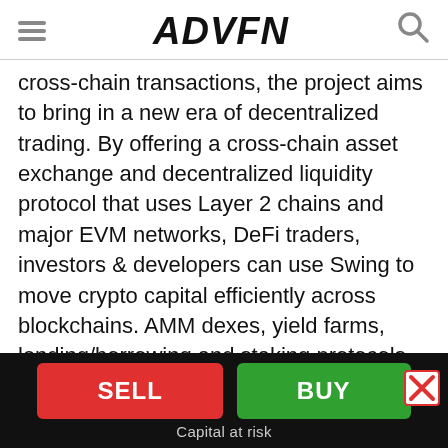ADVFN
cross-chain transactions, the project aims to bring in a new era of decentralized trading. By offering a cross-chain asset exchange and decentralized liquidity protocol that uses Layer 2 chains and major EVM networks, DeFi traders, investors & developers can use Swing to move crypto capital efficiently across blockchains. AMM dexes, yield farms, lending/borrowing and staking protocols will greatly benefit from Swing's cross-chain bridging solution. Swing navigates across top protocols and exchanges on Layer 1 and 2 chains with its cross-chain bridges and intelligent algorithms to beat and match market swap prices. Swing is currently compatible with Ethereum, Polygon, Binance Smart Chain, Harmony, Avalanche, xDai, Moonriver, and Phantom and is
SELL | BUY | Capital at risk